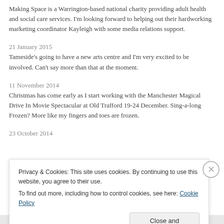Making Space is a Warrington-based national charity providing adult health and social care services. I'm looking forward to helping out their hardworking marketing coordinator Kayleigh with some media relations support.
21 January 2015
Tameside's going to have a new arts centre and I'm very excited to be involved. Can't say more than that at the moment.
11 November 2014
Christmas has come early as I start working with the Manchester Magical Drive In Movie Spectacular at Old Trafford 19-24 December. Sing-a-long Frozen? More like my fingers and toes are frozen.
23 October 2014
Privacy & Cookies: This site uses cookies. By continuing to use this website, you agree to their use.
To find out more, including how to control cookies, see here: Cookie Policy